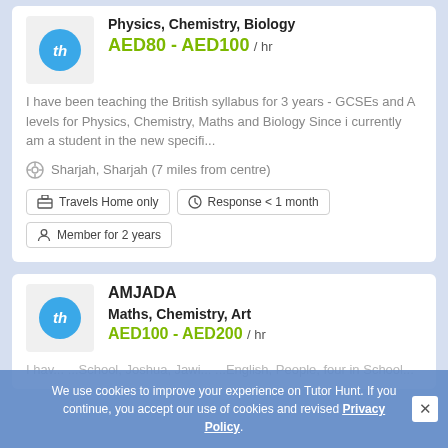Physics, Chemistry, Biology
AED80 - AED100 / hr
I have been teaching the British syllabus for 3 years - GCSEs and A levels for Physics, Chemistry, Maths and Biology Since i currently am a student in the new specifi...
Sharjah, Sharjah (7 miles from centre)
Travels Home only
Response < 1 month
Member for 2 years
AMJADA
Maths, Chemistry, Art
AED100 - AED200 / hr
I hav... ...School, Joshua, Jawi... ...English, People, four in School...
We use cookies to improve your experience on Tutor Hunt. If you continue, you accept our use of cookies and revised Privacy Policy.